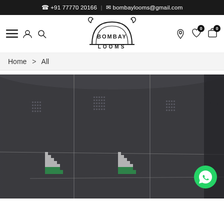+91 77770 20166 | bombaylooms@gmail.com
[Figure (logo): Bombay Looms logo with decorative arch and swirls above text]
Home > All
[Figure (photo): Dark charcoal/grey handwoven fabric with white grid lines and geometric embroidered motifs (square dot patterns and triangular green/white designs)]